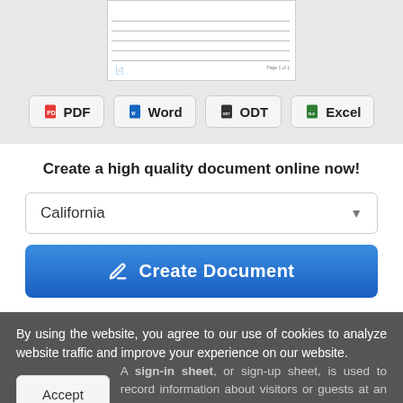[Figure (screenshot): Document preview thumbnail showing a table/spreadsheet with rows and 'Page 1 of 1' footer text]
PDF
Word
ODT
Excel
Create a high quality document online now!
California
Create Document
By using the website, you agree to our use of cookies to analyze website traffic and improve your experience on our website.
A sign-in sheet, or sign-up sheet, is used to record information about visitors or guests at an event. Upon cation, the form will be present for the ite their name, time (with date), and
Accept